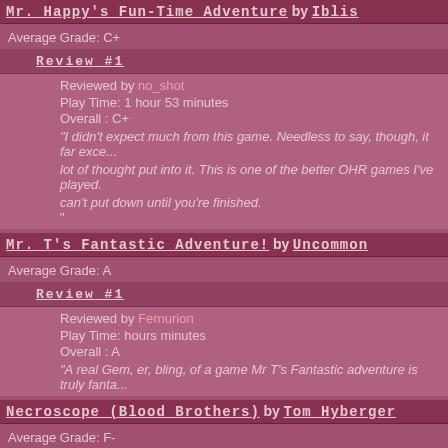Mr. Happy's Fun-Time Adventure by Iblis
Average Grade: C+
Review #1
Reviewed by no_shot
Play Time: 1 hour 53 minutes
Overall : C+
"I didn't expect much from this game. Needless to say, though, it far exceeded my expectations. There is a lot of thought put into it. This is one of the better OHR games I've played. One of those games you can't put down until you're finished."
Mr. T's Fantastic Adventure! by Uncommon
Average Grade: A
Review #1
Reviewed by Fernurion
Play Time: hours minutes
Overall : A
"A real Gem, er, bling, of a game Mr T's Fantastic adventure is truly fanta...
Necroscope (Blood Brothers) by Tom Hyberger
Average Grade: F-
Review #1
Reviewed by Psyco2000
Play Time: hours minutes
Overall : F-